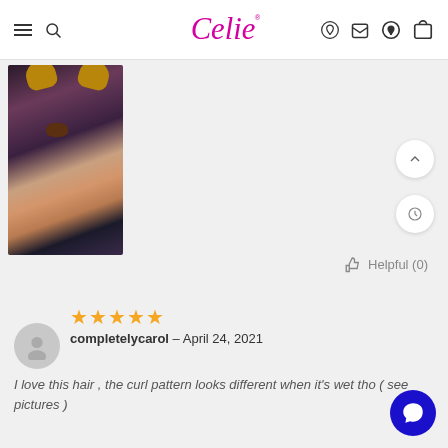Celie (logo) — navigation header with hamburger menu, search icon, account icon, cart icon
[Figure (photo): User-submitted review photo of a woman wearing a dog Snapchat filter, with curly hair extensions, wearing a tan top]
Helpful (0)
[Figure (illustration): Default avatar icon for reviewer completelycarol]
★★★★★
completelycarol – April 24, 2021
I love this hair , the curl pattern looks different when it's wet tho ( see pictures )